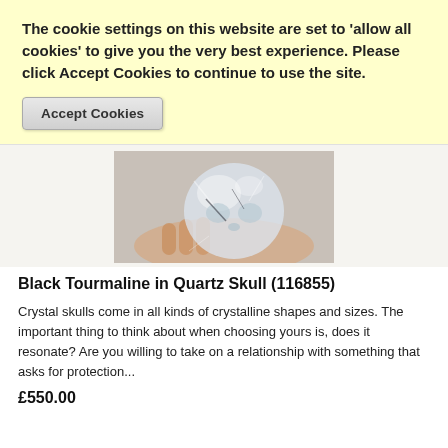The cookie settings on this website are set to 'allow all cookies' to give you the very best experience. Please click Accept Cookies to continue to use the site.
Accept Cookies
[Figure (photo): A hand holding a clear crystal quartz skull sculpture against a light background]
Black Tourmaline in Quartz Skull (116855)
Crystal skulls come in all kinds of crystalline shapes and sizes. The important thing to think about when choosing yours is, does it resonate? Are you willing to take on a relationship with something that asks for protection...
£550.00